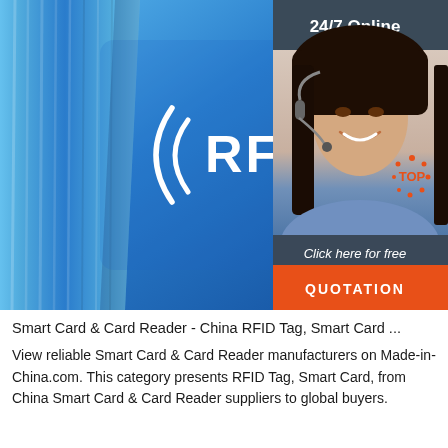[Figure (photo): RFID wristband and blue RFID card with signal waves and text '((RFID))'. An overlay in the top-right corner shows a customer service representative with '24/7 Online' header, 'Click here for free chat!' text, and an orange 'QUOTATION' button.]
Smart Card & Card Reader - China RFID Tag, Smart Card ...
View reliable Smart Card & Card Reader manufacturers on Made-in-China.com. This category presents RFID Tag, Smart Card, from China Smart Card & Card Reader suppliers to global buyers.